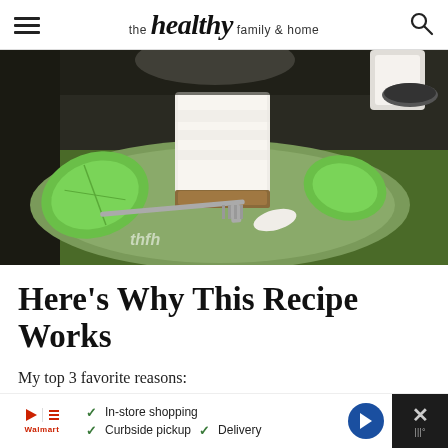the healthy family & home
[Figure (photo): A slice of raw vegan key lime cheesecake on a green plate with lime wedges and a fork, with a bite taken out. A watermark 'thfh' is visible in lower left corner.]
Here's Why This Recipe Works
My top 3 favorite reasons:
Ad: In-store shopping, Curbside pickup, Delivery